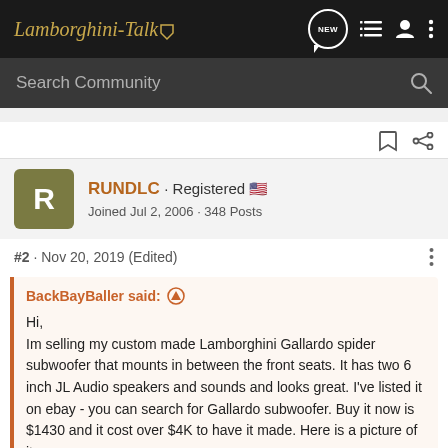Lamborghini-Talk
Search Community
RUNDLC · Registered
Joined Jul 2, 2006 · 348 Posts
#2 · Nov 20, 2019 (Edited)
BackBayBaller said:
Hi,
Im selling my custom made Lamborghini Gallardo spider subwoofer that mounts in between the front seats. It has two 6 inch JL Audio speakers and sounds and looks great. I've listed it on ebay - you can search for Gallardo subwoofer. Buy it now is $1430 and it cost over $4K to have it made. Here is a picture of it.